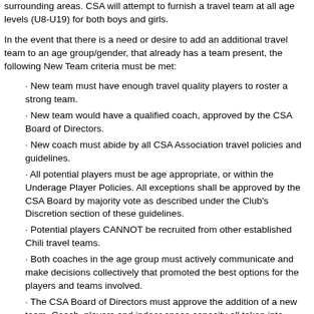surrounding areas. CSA will attempt to furnish a travel team at all age levels (U8-U19) for both boys and girls.
In the event that there is a need or desire to add an additional travel team to an age group/gender, that already has a team present, the following New Team criteria must be met:
· New team must have enough travel quality players to roster a strong team.
· New team would have a qualified coach, approved by the CSA Board of Directors.
· New coach must abide by all CSA Association travel policies and guidelines.
· All potential players must be age appropriate, or within the Underage Player Policies. All exceptions shall be approved by the CSA Board by majority vote as described under the Club's Discretion section of these guidelines.
· Potential players CANNOT be recruited from other established Chili travel teams.
· Both coaches in the age group must actively communicate and make decisions collectively that promoted the best options for the players and teams involved.
· The CSA Board of Directors must approve the addition of a new team. Coach, players and indoor space capacity all taken into consideration.
· The new team must be competitive within the division it is placed. The Board will routinely review the team's progress throughout the season.
Multiple teams in any given age group, once formed, will still be subjected to open tryouts each year. For age groups with multiple teams, the CSA board will appoint